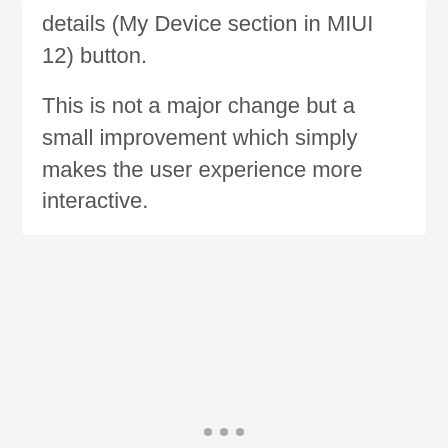details (My Device section in MIUI 12) button.
This is not a major change but a small improvement which simply makes the user experience more interactive.
[Figure (screenshot): A screenshot placeholder area with a light gray background, a like (heart) button in red showing count 1, a share button, and three pagination dots at the bottom.]